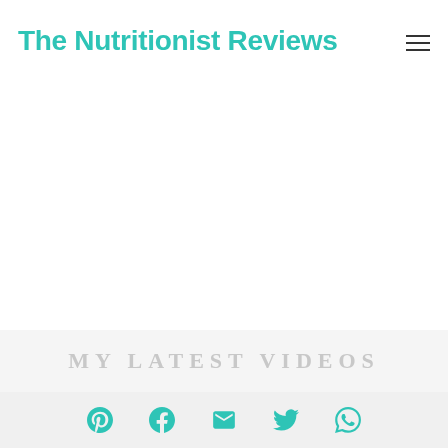The Nutritionist Reviews
MY LATEST VIDEOS
[Figure (other): Social share bar with Pinterest, Facebook, Email, Twitter, and WhatsApp icons in teal/turquoise color on light gray background]